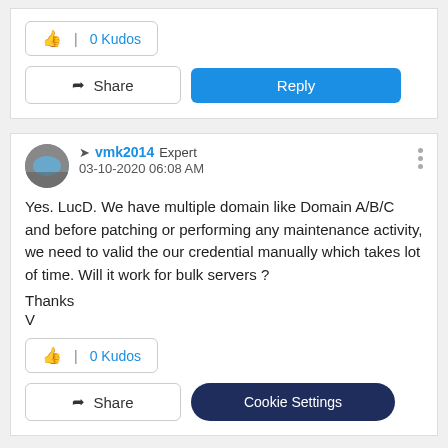0 Kudos
Share  Reply
vmk2014  Expert  03-10-2020 06:08 AM
Yes. LucD. We have multiple domain like Domain A/B/C and before patching or performing any maintenance activity, we need to valid the our credential manually which takes lot of time. Will it work for bulk servers ?
Thanks
V
0 Kudos
Share
Cookie Settings